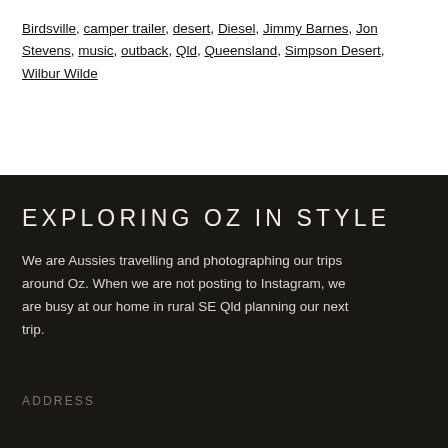Birdsville, camper trailer, desert, Diesel, Jimmy Barnes, Jon Stevens, music, outback, Qld, Queensland, Simpson Desert, Wilbur Wilde
EXPLORING OZ IN STYLE
We are Aussies travelling and photographing our trips around Oz. When we are not posting to Instagram, we are busy at our home in rural SE Qld planning our next trip.
ADDRESS